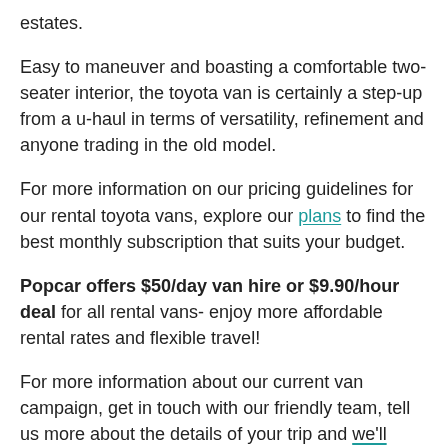estates.
Easy to maneuver and boasting a comfortable two-seater interior, the toyota van is certainly a step-up from a u-haul in terms of versatility, refinement and anyone trading in the old model.
For more information on our pricing guidelines for our rental toyota vans, explore our plans to find the best monthly subscription that suits your budget.
Popcar offers $50/day van hire or $9.90/hour deal for all rental vans- enjoy more affordable rental rates and flexible travel!
For more information about our current van campaign, get in touch with our friendly team, tell us more about the details of your trip and we'll estimate the cost for you.
Our Car Share Toyota Van: HiAce LWB (Petrol Automatic)